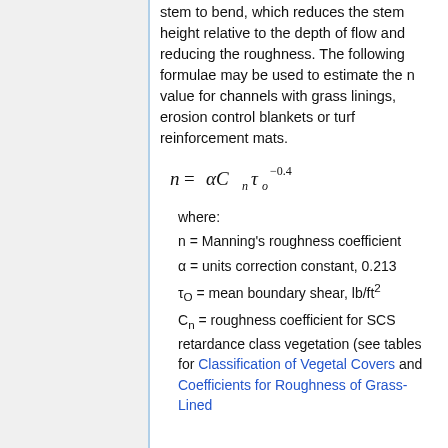stem to bend, which reduces the stem height relative to the depth of flow and reducing the roughness. The following formulae may be used to estimate the n value for channels with grass linings, erosion control blankets or turf reinforcement mats.
where:
n = Manning's roughness coefficient
α = units correction constant, 0.213
τ_o = mean boundary shear, lb/ft²
C_n = roughness coefficient for SCS retardance class vegetation (see tables for Classification of Vegetal Covers and Coefficients for Roughness of Grass-Lined Channels)